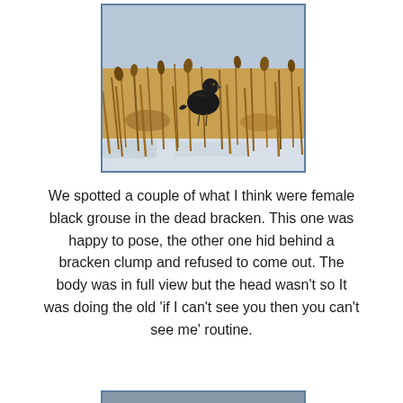[Figure (photo): A dark bird (female black grouse) perched among tall dead golden-brown bracken/reeds with snow visible on the ground below, sky is pale blue-grey]
We spotted a couple of what I think were female black grouse in the dead bracken. This one was happy to pose, the other one hid behind a bracken clump and refused to come out. The body was in full view but the head wasn't so It was doing the old 'if I can't see you then you can't see me' routine.